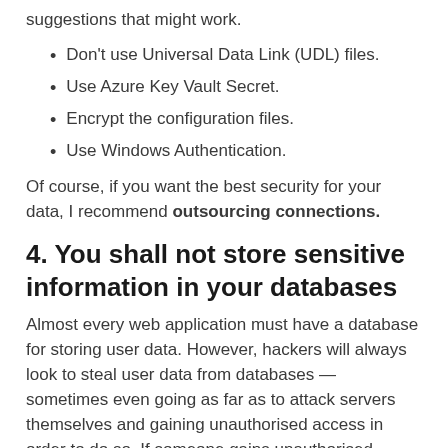suggestions that might work.
Don't use Universal Data Link (UDL) files.
Use Azure Key Vault Secret.
Encrypt the configuration files.
Use Windows Authentication.
Of course, if you want the best security for your data, I recommend outsourcing connections.
4. You shall not store sensitive information in your databases
Almost every web application must have a database for storing user data. However, hackers will always look to steal user data from databases — sometimes even going as far as to attack servers themselves and gaining unauthorised access in order to do so. If someone gains unauthorised access to your database, they can take advantage of it by stealing all the sensitive information they find there.